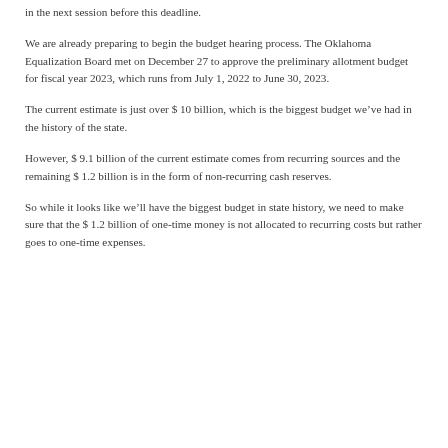in the next session before this deadline.
We are already preparing to begin the budget hearing process. The Oklahoma Equalization Board met on December 27 to approve the preliminary allotment budget for fiscal year 2023, which runs from July 1, 2022 to June 30, 2023.
The current estimate is just over $ 10 billion, which is the biggest budget we’ve had in the history of the state.
However, $ 9.1 billion of the current estimate comes from recurring sources and the remaining $ 1.2 billion is in the form of non-recurring cash reserves.
So while it looks like we’ll have the biggest budget in state history, we need to make sure that the $ 1.2 billion of one-time money is not allocated to recurring costs but rather goes to one-time expenses.